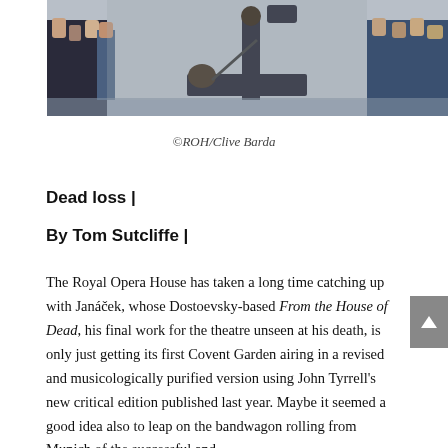[Figure (photo): Performance scene from From the House of Dead at the Royal Opera House — a figure lies on the floor while another stands over them with a rod, surrounded by performers in costumes on a stage set.]
©ROH/Clive Barda
Dead loss |
By Tom Sutcliffe |
The Royal Opera House has taken a long time catching up with Janáček, whose Dostoevsky-based From the House of Dead, his final work for the theatre unseen at his death, is only just getting its first Covent Garden airing in a revised and musicologically purified version using John Tyrrell's new critical edition published last year. Maybe it seemed a good idea also to leap on the bandwagon rolling from Munich of the successful and